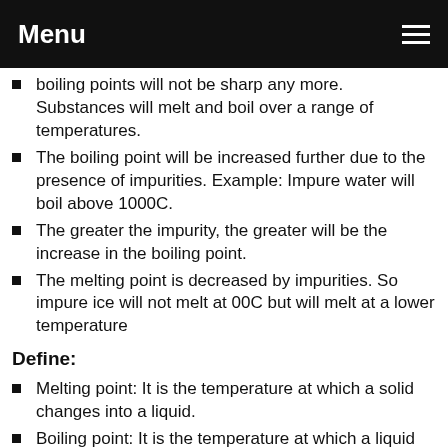Menu
boiling points will not be sharp any more. Substances will melt and boil over a range of temperatures.
The boiling point will be increased further due to the presence of impurities. Example: Impure water will boil above 1000C.
The greater the impurity, the greater will be the increase in the boiling point.
The melting point is decreased by impurities. So impure ice will not melt at 00C but will melt at a lower temperature
Define:
Melting point: It is the temperature at which a solid changes into a liquid.
Boiling point: It is the temperature at which a liquid changes into a gas.
Naming the test for purity of substances.